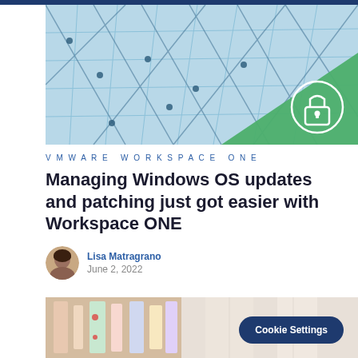[Figure (photo): Hero image of a glass building facade with geometric steel grid pattern in blue tones; a green triangular overlay in the bottom-right contains a white padlock/security icon]
VMware Workspace ONE
Managing Windows OS updates and patching just got easier with Workspace ONE
Lisa Matragrano
June 2, 2022
[Figure (photo): Bottom partial image strip showing a blurred indoor scene with colorful elements on the left side]
Cookie Settings